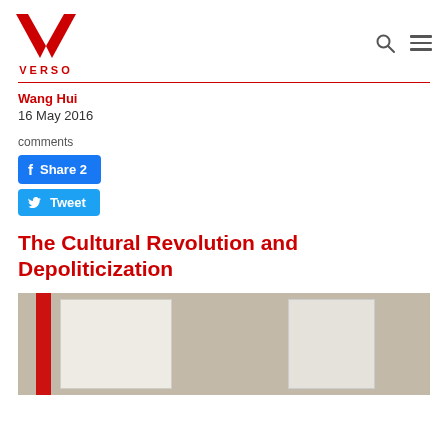VERSO
Wang Hui
16 May 2016
comments
Share 2
Tweet
The Cultural Revolution and Depoliticization
[Figure (photo): Photo of an open book with a red spine on a brown background]